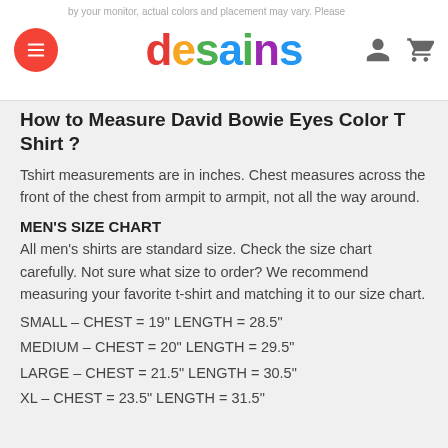desains
How to Measure David Bowie Eyes Color T Shirt ?
Tshirt measurements are in inches. Chest measures across the front of the chest from armpit to armpit, not all the way around.
MEN'S SIZE CHART
All men's shirts are standard size. Check the size chart carefully. Not sure what size to order? We recommend measuring your favorite t-shirt and matching it to our size chart.
SMALL – CHEST = 19" LENGTH = 28.5"
MEDIUM – CHEST = 20" LENGTH = 29.5"
LARGE – CHEST = 21.5" LENGTH = 30.5"
XL – CHEST = 23.5" LENGTH = 31.5"